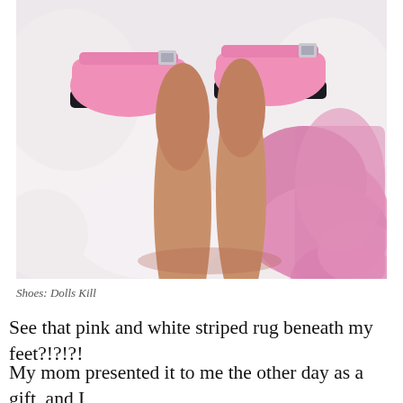[Figure (photo): Close-up photo of a person's legs wearing pink patent leather Mary Jane platform shoes with buckle straps, resting on a pink and white striped fluffy/sherpa rug]
Shoes: Dolls Kill
See that pink and white striped rug beneath my feet?!?!?!
My mom presented it to me the other day as a gift, and I